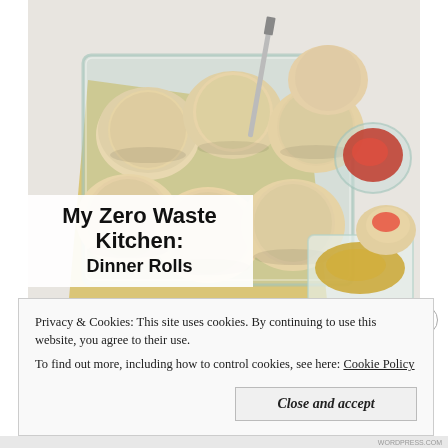[Figure (photo): Overhead photo of dinner rolls in a glass baking dish on a yellow cloth, with a knife, a glass bowl of jam, a dish of butter/mustard, and a broken roll with jam on a white surface.]
My Zero Waste Kitchen: Dinner Rolls
Privacy & Cookies: This site uses cookies. By continuing to use this website, you agree to their use.
To find out more, including how to control cookies, see here: Cookie Policy
Close and accept